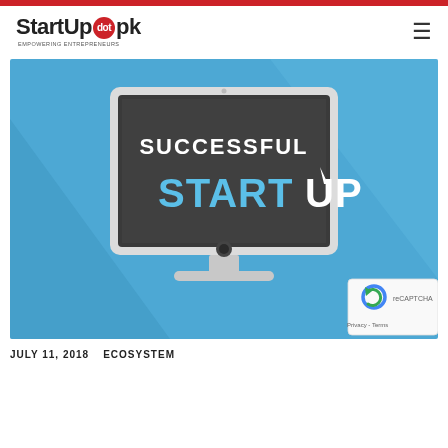StartUp dot pk — Empowering Entrepreneurs
[Figure (illustration): Illustration of an iMac desktop computer on a blue background showing 'SUCCESSFUL STARTUP' text on screen. The word STARTUP is in bold blue/white with an upward arrow, on a dark screen.]
JULY 11, 2018    ECOSYSTEM